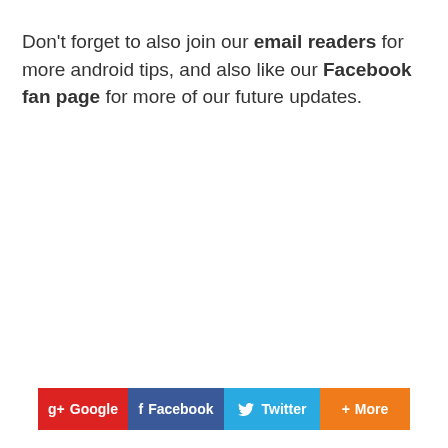Don't forget to also join our email readers for more android tips, and also like our Facebook fan page for more of our future updates.
[Figure (infographic): Social sharing buttons: Google+, Facebook, Twitter, More]